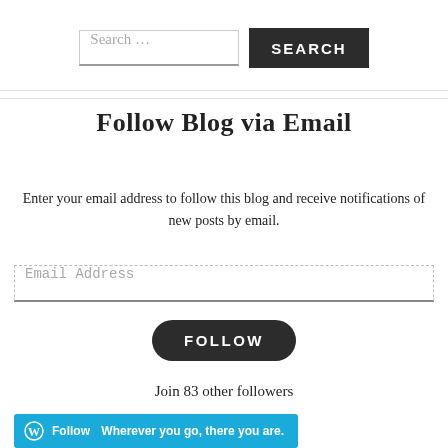Search …
SEARCH
Follow Blog via Email
Enter your email address to follow this blog and receive notifications of new posts by email.
Email Address
FOLLOW
Join 83 other followers
Follow Wherever you go, there you are.